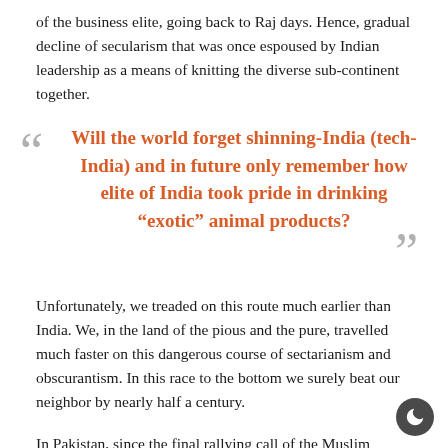of the business elite, going back to Raj days. Hence, gradual decline of secularism that was once espoused by Indian leadership as a means of knitting the diverse sub-continent together.
“ Will the world forget shinning-India (tech-India) and in future only remember how elite of India took pride in drinking “exotic” animal products? ”
Unfortunately, we treaded on this route much earlier than India. We, in the land of the pious and the pure, travelled much faster on this dangerous course of sectarianism and obscurantism. In this race to the bottom we surely beat our neighbor by nearly half a century.
In Pakistan, since the final rallying call of the Muslim League was “Islam-in-danger” (incidentally no non-Muslim could